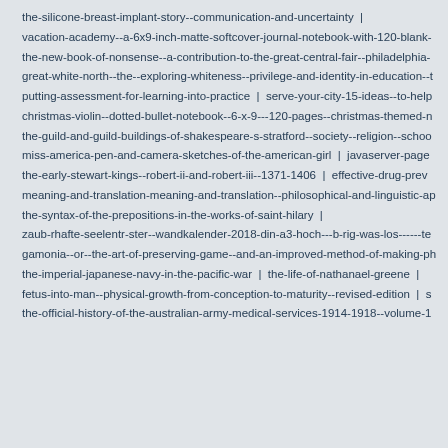the-silicone-breast-implant-story--communication-and-uncertainty  |
vacation-academy--a-6x9-inch-matte-softcover-journal-notebook-with-120-blank-
the-new-book-of-nonsense--a-contribution-to-the-great-central-fair--philadelphia-
great-white-north--the--exploring-whiteness--privilege-and-identity-in-education--t
putting-assessment-for-learning-into-practice  |  serve-your-city-15-ideas--to-help
christmas-violin--dotted-bullet-notebook--6-x-9---120-pages--christmas-themed-n
the-guild-and-guild-buildings-of-shakespeare-s-stratford--society--religion--schoo
miss-america-pen-and-camera-sketches-of-the-american-girl  |  javaserver-page
the-early-stewart-kings--robert-ii-and-robert-iii--1371-1406  |  effective-drug-prev
meaning-and-translation-meaning-and-translation--philosophical-and-linguistic-ap
the-syntax-of-the-prepositions-in-the-works-of-saint-hilary  |
zaub-rhafte-seelentr-ster--wandkalender-2018-din-a3-hoch---b-rig-was-los------te
gamonia--or--the-art-of-preserving-game--and-an-improved-method-of-making-ph
the-imperial-japanese-navy-in-the-pacific-war  |  the-life-of-nathanael-greene  |
fetus-into-man--physical-growth-from-conception-to-maturity--revised-edition  |  s
the-official-history-of-the-australian-army-medical-services-1914-1918--volume-1